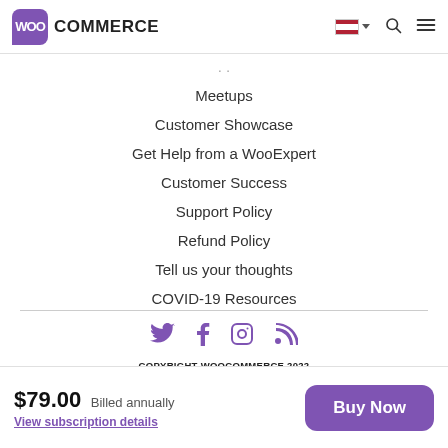WooCommerce
Meetups
Customer Showcase
Get Help from a WooExpert
Customer Success
Support Policy
Refund Policy
Tell us your thoughts
COVID-19 Resources
[Figure (illustration): Social media icons: Twitter, Facebook, Instagram, RSS feed]
COPYRIGHT WOOCOMMERCE 2022
TERMS & CONDITIONS · PRIVACY POLICY
$79.00 Billed annually
View subscription details
Buy Now